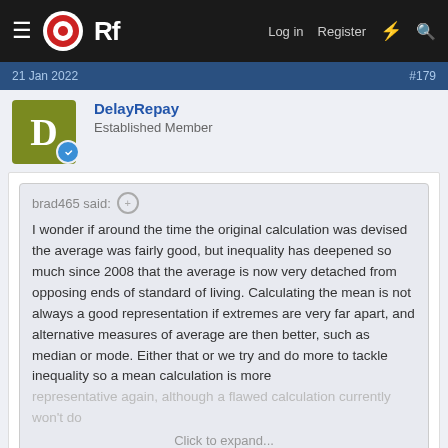ORf — Log in  Register
21 Jan 2022  #179
DelayRepay
Established Member
brad465 said:
I wonder if around the time the original calculation was devised the average was fairly good, but inequality has deepened so much since 2008 that the average is now very detached from opposing ends of standard of living. Calculating the mean is not always a good representation if extremes are very far apart, and alternative measures of average are then better, such as median or mode. Either that or we try and do more to tackle inequality so a mean calculation is more representative again, although a flawed calculation currently won't do
Click to expand...
Caution is needed. If the method of calculating inflation is changed to make it more accurate, we'd end up with a higher figure. So all those costs that are linked to CPI would increase even more; rail tickets,